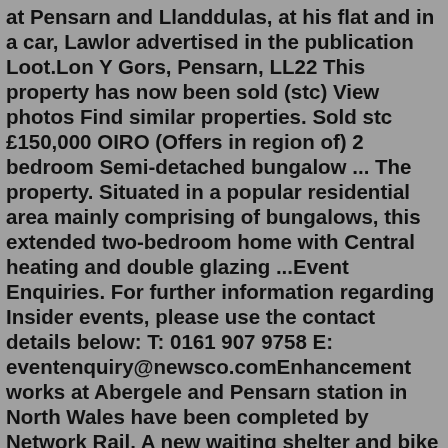at Pensarn and Llanddulas, at his flat and in a car, Lawlor advertised in the publication Loot.Lon Y Gors, Pensarn, LL22 This property has now been sold (stc) View photos Find similar properties. Sold stc £150,000 OIRO (Offers in region of) 2 bedroom Semi-detached bungalow ... The property. Situated in a popular residential area mainly comprising of bungalows, this extended two-bedroom home with Central heating and double glazing ...Event Enquiries. For further information regarding Insider events, please use the contact details below: T: 0161 907 9758 E: eventenquiry@newsco.comEnhancement works at Abergele and Pensarn station in North Wales have been completed by Network Rail. A new waiting shelter and bike rack has been installed at the station, all part of Network Rail's Railway Upgrade Plan. The enhancements also included drainage works, new energy efficient LED lighting installed on platform 1 and 2 and new ...Property Market Insights. PropertyHeads has 0 houses for sale in Pensarn and a further flats for sale in Pensarn. This